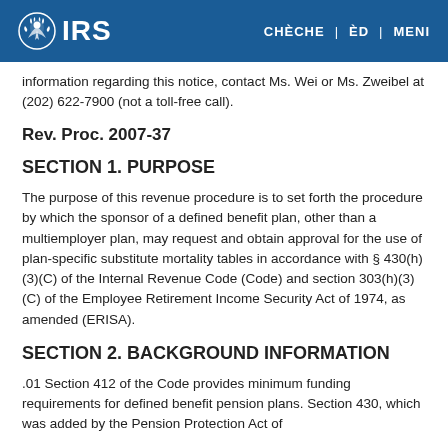IRS — CHÈCHE | ÈD | MENI
information regarding this notice, contact Ms. Wei or Ms. Zweibel at (202) 622-7900 (not a toll-free call).
Rev. Proc. 2007-37
SECTION 1. PURPOSE
The purpose of this revenue procedure is to set forth the procedure by which the sponsor of a defined benefit plan, other than a multiemployer plan, may request and obtain approval for the use of plan-specific substitute mortality tables in accordance with § 430(h)(3)(C) of the Internal Revenue Code (Code) and section 303(h)(3)(C) of the Employee Retirement Income Security Act of 1974, as amended (ERISA).
SECTION 2. BACKGROUND INFORMATION
.01 Section 412 of the Code provides minimum funding requirements for defined benefit pension plans. Section 430, which was added by the Pension Protection Act of